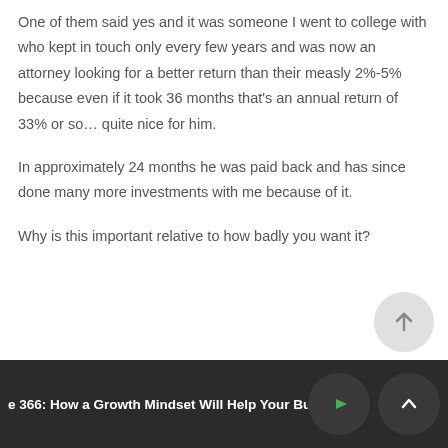One of them said yes and it was someone I went to college with who kept in touch only every few years and was now an attorney looking for a better return than their measly 2%-5% because even if it took 36 months that’s an annual return of 33% or so… quite nice for him.
In approximately 24 months he was paid back and has since done many more investments with me because of it.
Why is this important relative to how badly you want it?
e 366: How a Growth Mindset Will Help Your Bu